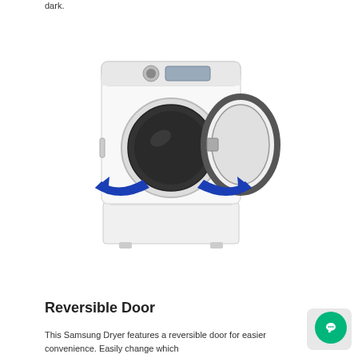dark.
[Figure (illustration): Samsung front-load dryer with door open to the right. Two blue arrows indicate door reversibility — one arrow pointing left and one pointing right. The dryer is white and sits on a pedestal.]
Reversible Door
This Samsung Dryer features a reversible door for easier convenience. Easily change which...